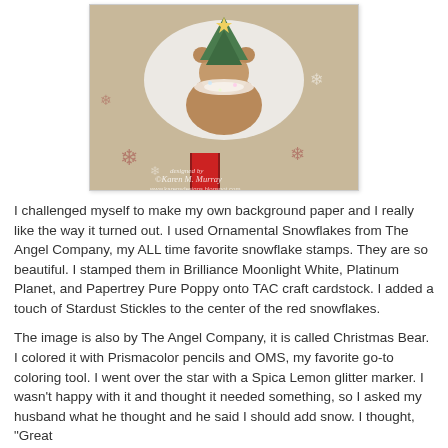[Figure (photo): A close-up photograph of a handmade Christmas card featuring a bear holding a Christmas tree, on kraft paper background with red snowflake stamps and glitter. Watermark reads 'designed by Karen M Murray, www.karensdesigns.blogspot.com'.]
I challenged myself to make my own background paper and I really like the way it turned out. I used Ornamental Snowflakes from The Angel Company, my ALL time favorite snowflake stamps. They are so beautiful. I stamped them in Brilliance Moonlight White, Platinum Planet, and Papertrey Pure Poppy onto TAC craft cardstock. I added a touch of Stardust Stickles to the center of the red snowflakes.
The image is also by The Angel Company, it is called Christmas Bear. I colored it with Prismacolor pencils and OMS, my favorite go-to coloring tool. I went over the star with a Spica Lemon glitter marker. I wasn't happy with it and thought it needed something, so I asked my husband what he thought and he said I should add snow. I thought, "Great